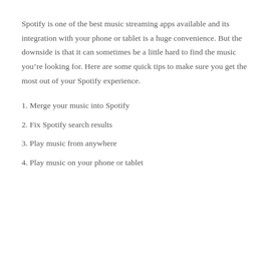Spotify is one of the best music streaming apps available and its integration with your phone or tablet is a huge convenience. But the downside is that it can sometimes be a little hard to find the music you’re looking for. Here are some quick tips to make sure you get the most out of your Spotify experience.
1. Merge your music into Spotify
2. Fix Spotify search results
3. Play music from anywhere
4. Play music on your phone or tablet